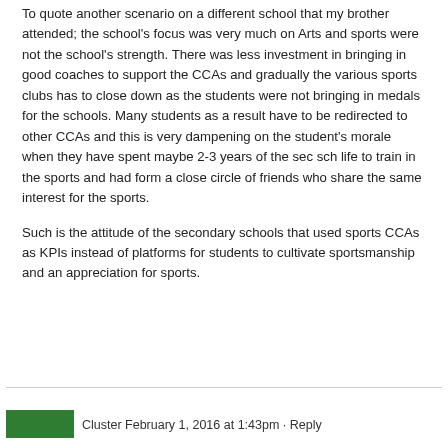To quote another scenario on a different school that my brother attended; the school's focus was very much on Arts and sports were not the school's strength. There was less investment in bringing in good coaches to support the CCAs and gradually the various sports clubs has to close down as the students were not bringing in medals for the schools. Many students as a result have to be redirected to other CCAs and this is very dampening on the student's morale when they have spent maybe 2-3 years of the sec sch life to train in the sports and had form a close circle of friends who share the same interest for the sports.
Such is the attitude of the secondary schools that used sports CCAs as KPIs instead of platforms for students to cultivate sportsmanship and an appreciation for sports.
Cluster February 1, 2016 at 1:43pm · Reply